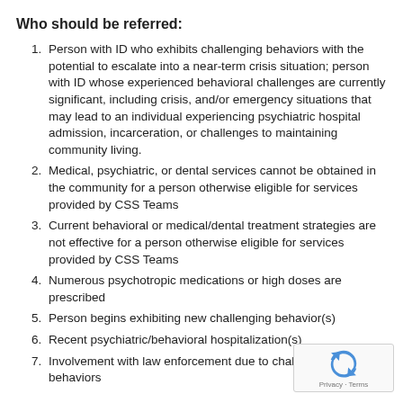Who should be referred:
Person with ID who exhibits challenging behaviors with the potential to escalate into a near-term crisis situation; person with ID whose experienced behavioral challenges are currently significant, including crisis, and/or emergency situations that may lead to an individual experiencing psychiatric hospital admission, incarceration, or challenges to maintaining community living.
Medical, psychiatric, or dental services cannot be obtained in the community for a person otherwise eligible for services provided by CSS Teams
Current behavioral or medical/dental treatment strategies are not effective for a person otherwise eligible for services provided by CSS Teams
Numerous psychotropic medications or high doses are prescribed
Person begins exhibiting new challenging behavior(s)
Recent psychiatric/behavioral hospitalization(s)
Involvement with law enforcement due to challenging behaviors